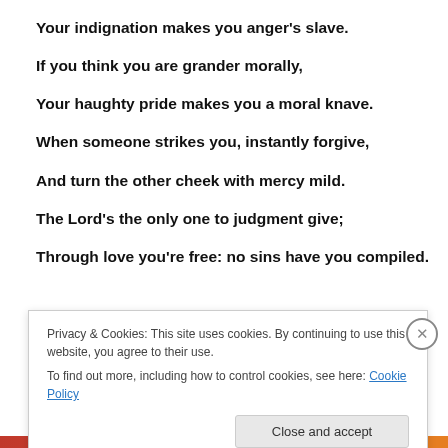Your indignation makes you anger's slave.
If you think you are grander morally,
Your haughty pride makes you a moral knave.
When someone strikes you, instantly forgive,
And turn the other cheek with mercy mild.
The Lord's the only one to judgment give;
Through love you're free: no sins have you compiled.
Privacy & Cookies: This site uses cookies. By continuing to use this website, you agree to their use.
To find out more, including how to control cookies, see here: Cookie Policy